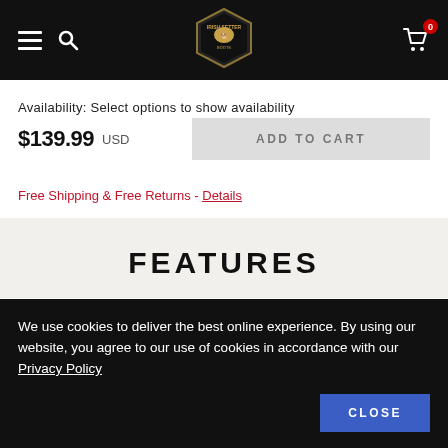Irish Setter navigation bar with hamburger menu, search, logo, and cart (0)
Availability: Select options to show availability
$139.99 USD
ADD TO CART
Free Shipping & Free Returns - Details
FEATURES
ELY
We use cookies to deliver the best online experience. By using our website, you agree to our use of cookies in accordance with our Privacy Policy
CLOSE